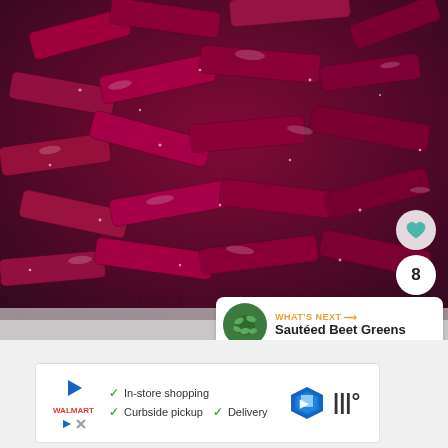[Figure (photo): Close-up photo of roasted beet slices (deep purple/magenta color) on a baking sheet with visible salt and oil.]
8
[Figure (photo): Small thumbnail of sautéed beet greens with a 'WHAT'S NEXT' label and arrow.]
WHAT'S NEXT → Sautéed Beet Greens
[Figure (other): Advertisement banner with checkmarks for In-store shopping, Curbside pickup, and Delivery services.]
In-store shopping
Curbside pickup  ✓  Delivery